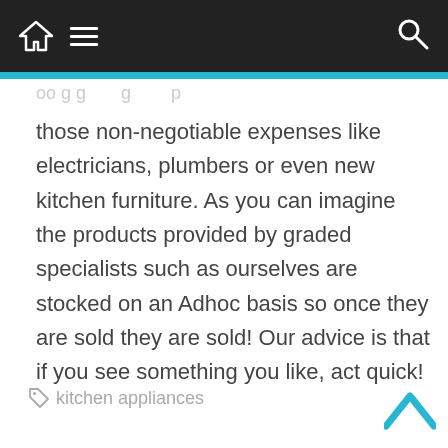[home icon] [menu icon] [search icon]
those non-negotiable expenses like electricians, plumbers or even new kitchen furniture. As you can imagine the products provided by graded specialists such as ourselves are stocked on an Adhoc basis so once they are sold they are sold! Our advice is that if you see something you like, act quick!
kitchen appliances